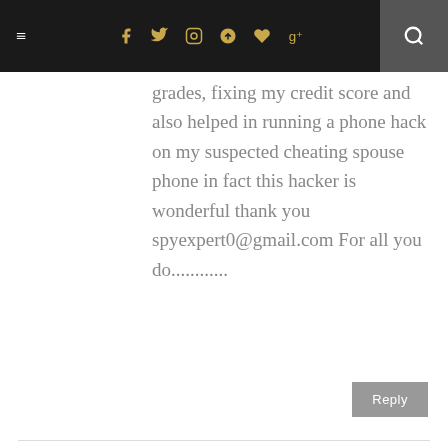Navigation bar with menu, social icons (Facebook, Twitter, Instagram, Pinterest, heart, Google+), and search
grades, fixing my credit score and also helped in running a phone hack on my suspected cheating spouse phone in fact this hacker is wonderful thank you spyexpert0@gmail.com For all you do............
Reply
WILLIAMS CURRY
April 11, 2021 at 9:52 AM
Dr, W. Curry, medical field, communicate with a